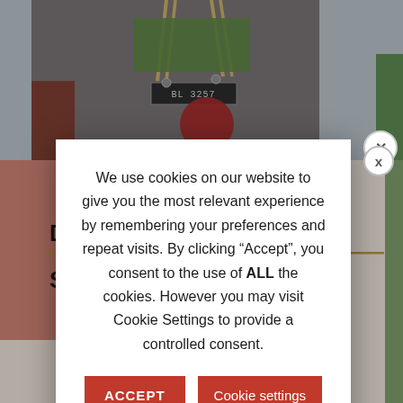[Figure (screenshot): Background website screenshot showing machinery/vehicle image at top and page content below, partially obscured by a cookie consent modal dialog]
We use cookies on our website to give you the most relevant experience by remembering your preferences and repeat visits. By clicking “Accept”, you consent to the use of ALL the cookies. However you may visit Cookie Settings to provide a controlled consent.